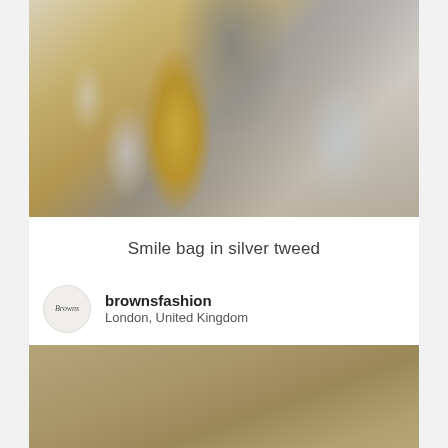[Figure (photo): Luxury still life with a sparkly silver tweed Smile bag, gold trumpet, crystal glassware on a reflective surface]
Smile bag in silver tweed
[Figure (logo): Browns fashion circular logo/avatar]
brownsfashion
London, United Kingdom
[Figure (photo): Partially visible tan/khaki colored background — bottom image clipped]